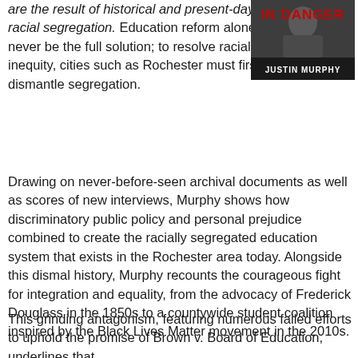are the result of historical and present-day racial segregation. Education reform alone will never be the full solution; to resolve racial inequity, cities such as Rochester must first dismantle segregation.
[Figure (illustration): Book cover showing title 'IN DANGER' in red text, author name 'JUSTIN MURPHY' in white text, on a dark background with a grayscale image of a person.]
Drawing on never-before-seen archival documents as well as scores of new interviews, Murphy shows how discriminatory public policy and personal prejudice combined to create the racially segregated education system that exists in the Rochester area today. Alongside this dismal history, Murphy recounts the courageous fight for integration and equality, from the advocacy of Frederick Douglass in the 1850s to a countywide student coalition inspired by the Black Lives Matter movement in the 2010s.
This grinding antagonism, featuring numerous failed efforts to uphold the promise of Brown v. Board of Education, underlines that